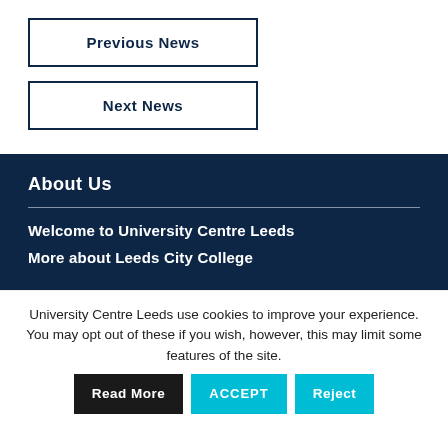Previous News
Next News
About Us
Welcome to University Centre Leeds
More about Leeds City College
University Centre Leeds use cookies to improve your experience. You may opt out of these if you wish, however, this may limit some features of the site.
Read More | ACCEPT | Reject